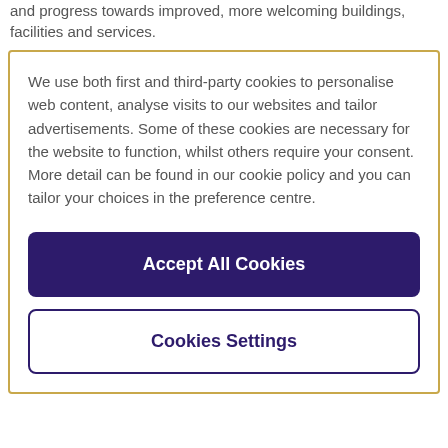and progress towards improved, more welcoming buildings, facilities and services.
We use both first and third-party cookies to personalise web content, analyse visits to our websites and tailor advertisements. Some of these cookies are necessary for the website to function, whilst others require your consent. More detail can be found in our cookie policy and you can tailor your choices in the preference centre.
Accept All Cookies
Cookies Settings